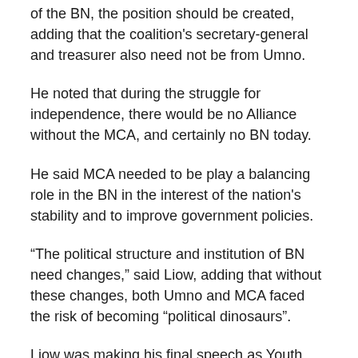of the BN, the position should be created, adding that the coalition's secretary-general and treasurer also need not be from Umno.
He noted that during the struggle for independence, there would be no Alliance without the MCA, and certainly no BN today.
He said MCA needed to be play a balancing role in the BN in the interest of the nation's stability and to improve government policies.
“The political structure and institution of BN need changes,” said Liow, adding that without these changes, both Umno and MCA faced the risk of becoming “political dinosaurs”.
Liow was making his final speech as Youth chief. Datuk